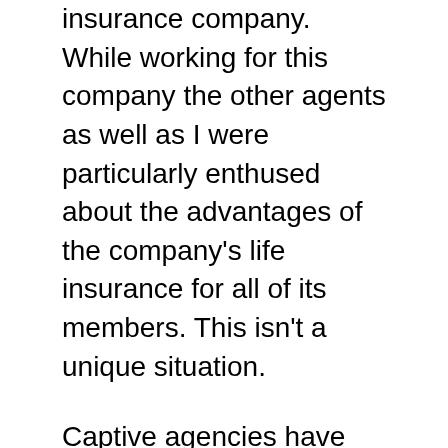insurance company. While working for this company the other agents as well as I were particularly enthused about the advantages of the company's life insurance for all of its members. This isn't a unique situation.
Captive agencies have managers who encourage agents to promote one company since they receive commissions whenever their agents sell the products. Don't think they are knowledgeable about the advantages of various types of insurance plans, as they are often unaware of the benefits that go beyond their own business. Instead of consulting with their customers and scouring the market, they promote a single plan which doesn't always work as well. They want to ensure clients